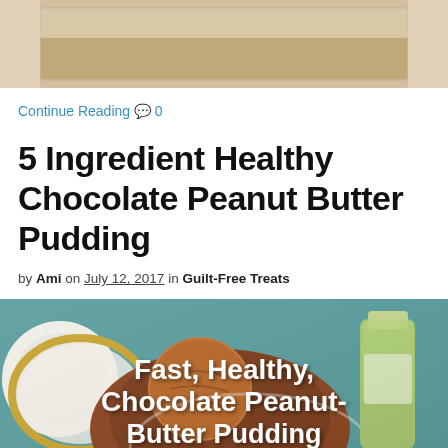[Figure (photo): Top portion of a food/baking photo showing what appears to be a glass baking dish with baked goods, cropped at top]
Continue Reading 💬 0
5 Ingredient Healthy Chocolate Peanut Butter Pudding
by Ami on July 12, 2017 in Guilt-Free Treats
[Figure (photo): Photo of chocolate peanut butter pudding in a glass dish with text overlay reading: Fast, Healthy, Chocolate Peanut-Butter Pudding]